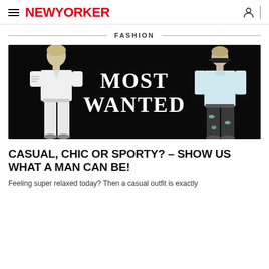NewYorker
FASHION
[Figure (photo): Fashion editorial image on black background showing two male models in stylish outfits. Center text reads 'MOST WANTED' in large serif white font. Left model wears white short-sleeve shirt and white trousers with tattoos visible. Right model wears light blue long-sleeve shirt and dark patterned jeans with sunglasses.]
CASUAL, CHIC OR SPORTY? – SHOW US WHAT A MAN CAN BE!
Feeling super relaxed today? Then a casual outfit is exactly